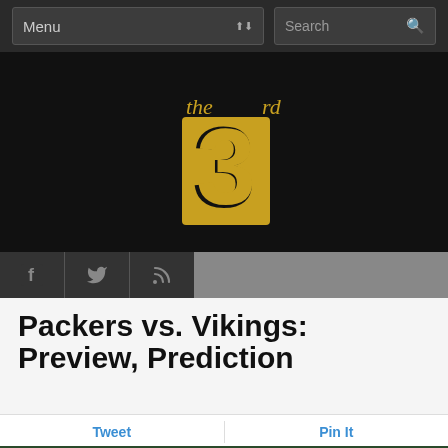Menu | Search
[Figure (logo): The 3rd - sports blog logo with large gold number 3 and 'the' and 'rd' text]
[Figure (infographic): Social media icons bar: Facebook, Twitter, RSS]
Packers vs. Vikings: Preview, Prediction
Tweet | Pin It
[Figure (photo): Green Bay Packers defensive players on field, numbers 97, 55, 94 visible in green and yellow uniforms]